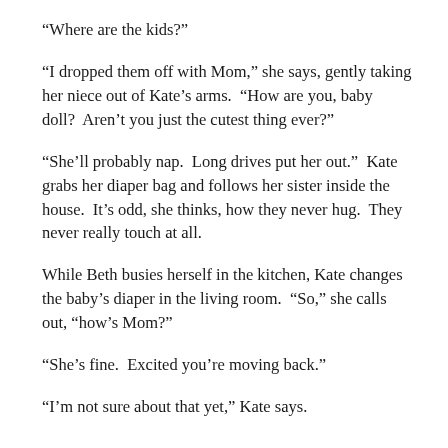“Where are the kids?”
“I dropped them off with Mom,” she says, gently taking her niece out of Kate’s arms.  “How are you, baby doll?  Aren’t you just the cutest thing ever?”
“She’ll probably nap.  Long drives put her out.”  Kate grabs her diaper bag and follows her sister inside the house.  It’s odd, she thinks, how they never hug.  They never really touch at all.
While Beth busies herself in the kitchen, Kate changes the baby’s diaper in the living room.  “So,” she calls out, “how’s Mom?”
“She’s fine.  Excited you’re moving back.”
“I’m not sure about that yet,” Kate says.